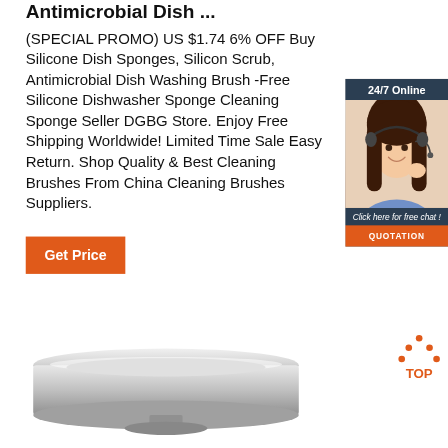Antimicrobial Dish ...
(SPECIAL PROMO) US $1.74 6% OFF Buy Silicone Dish Sponges, Silicon Scrub, Antimicrobial Dish Washing Brush -Free Silicone Dishwasher Sponge Cleaning Sponge Seller DGBG Store. Enjoy Free Shipping Worldwide! Limited Time Sale Easy Return. Shop Quality & Best Cleaning Brushes From China Cleaning Brushes Suppliers.
[Figure (photo): Customer service representative widget with '24/7 Online' header, photo of woman with headset, 'Click here for free chat!' text, and orange QUOTATION button]
[Figure (other): Orange 'Get Price' button]
[Figure (photo): Product image showing a silver/metallic dish or tray at the bottom of the page]
[Figure (other): TOP icon with orange dots arranged in triangle shape above 'TOP' text]